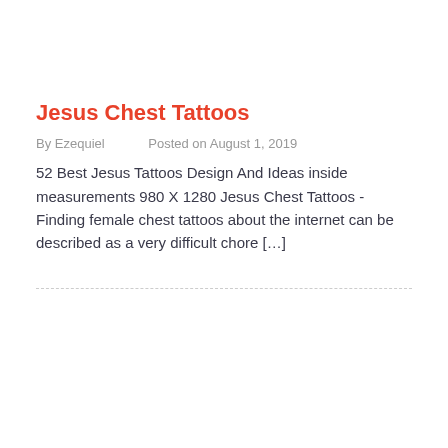Jesus Chest Tattoos
By Ezequiel    Posted on August 1, 2019
52 Best Jesus Tattoos Design And Ideas inside measurements 980 X 1280 Jesus Chest Tattoos -Finding female chest tattoos about the internet can be described as a very difficult chore […]